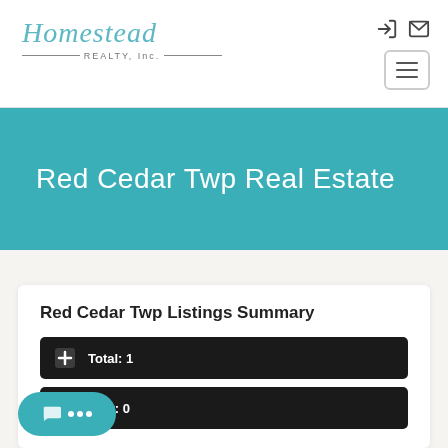[Figure (logo): Homestead Realty Inc logo with teal script and grey subtitle with horizontal lines]
Red Cedar Twp Real Estate
Red Cedar Twp Listings Summary
Total: 1
New: 0